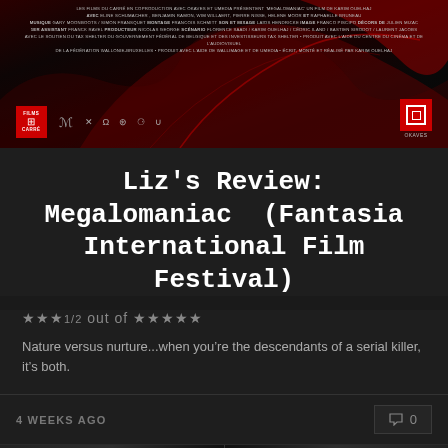[Figure (photo): Movie poster for 'Megalomaniac' by Karim Ouelhaj, showing dark red and black imagery with film credits, production logos including Films du Carré and Okaves]
Liz's Review: Megalomaniac (Fantasia International Film Festival)
★★★1/2 out of ★★★★★
Nature versus nurture...when you're the descendants of a serial killer, it's both.
4 WEEKS AGO
0